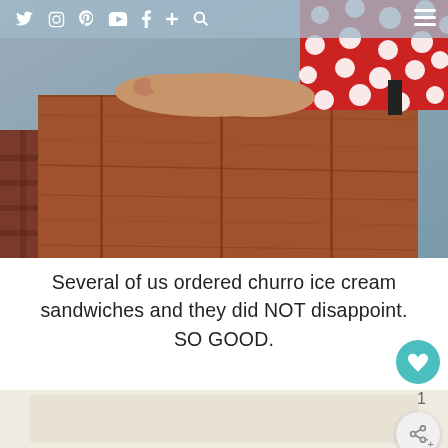Social media navigation bar with icons: Twitter, Instagram, Pinterest, YouTube, Facebook, Plus, Search, Menu
[Figure (photo): A child in a red polka-dot dress leaning on a reddish-brown wooden table or bench, with red brick flooring visible in the background.]
Several of us ordered churro ice cream sandwiches and they did NOT disappoint. SO GOOD.
[Figure (photo): Partial view of a photo at the bottom of the page, showing a beige/tan background.]